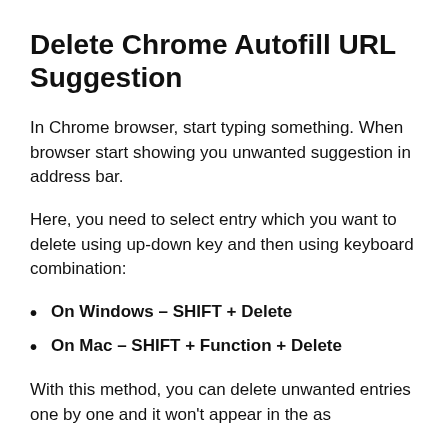Delete Chrome Autofill URL Suggestion
In Chrome browser, start typing something. When browser start showing you unwanted suggestion in address bar.
Here, you need to select entry which you want to delete using up-down key and then using keyboard combination:
On Windows – SHIFT + Delete
On Mac – SHIFT + Function + Delete
With this method, you can delete unwanted entries one by one and it won't appear in the as